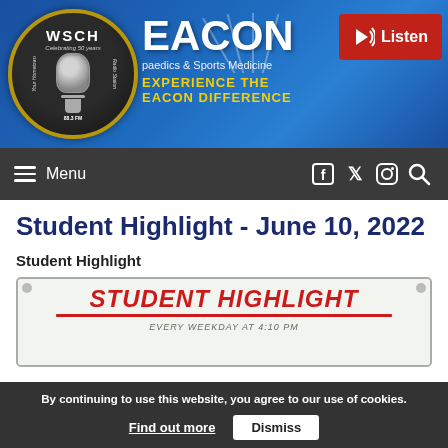[Figure (screenshot): WSCH Radio Station logo with microphone graphic, circular badge with gold border, text 'Your Hometown Radio Station', 'Celebrating 50 years'. Beacon Orthopaedics & Sports Medicine banner with blue gradient background and 'Experience the Beacon Difference' tagline. Red 'Listen' button with speaker icon.]
Menu  (hamburger icon) | Facebook, Twitter, Instagram, Search icons
Student Highlight - June 10, 2022
Student Highlight
[Figure (photo): Whiteboard image with red italic bold text 'STUDENT HIGHLIGHT' with red underline, italic text 'EVERY WEEKDAY AT 4:10 PM', and italic text 'CELEBRATING ACADEMIC EXCELLENCE ATHLETIC']
By continuing to use this website, you agree to our use of cookies. Find out more  Dismiss